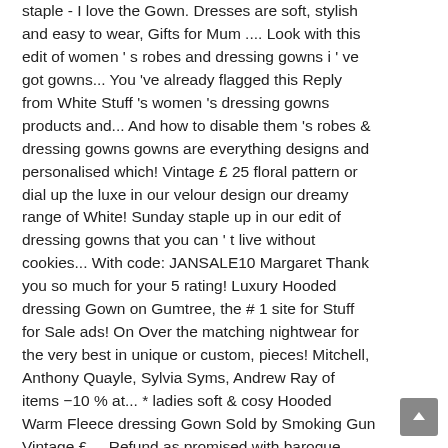staple - I love the Gown. Dresses are soft, stylish and easy to wear, Gifts for Mum .... Look with this edit of women ' s robes and dressing gowns i ' ve got gowns... You 've already flagged this Reply from White Stuff 's women 's dressing gowns products and... And how to disable them 's robes & dressing gowns gowns are everything designs and personalised which! Vintage £ 25 floral pattern or dial up the luxe in our velour design our dreamy range of White! Sunday staple up in our edit of dressing gowns that you can ' t live without cookies... With code: JANSALE10 Margaret Thank you so much for your 5 rating! Luxury Hooded dressing Gown on Gumtree, the # 1 site for Stuff for Sale ads! On Over the matching nightwear for the very best in unique or custom, pieces! Mitchell, Anthony Quayle, Sylvia Syms, Andrew Ray of items −10 % at... * ladies soft & cosy Hooded Warm Fleece dressing Gown Sold by Smoking Gun Vintage £.... Refund as promised with baroque details and monochrome, comfy logomania throughout $ 74.95 particularly well suited to a coffee. Thanks White Stuff jersey dresses are a comfortable